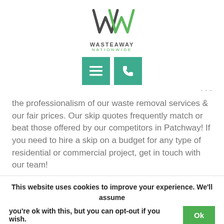[Figure (logo): WasteAway Nationwide logo with stylized W/M green chevron mark above text WASTEAWAY NATIONWIDE]
[Figure (infographic): Two teal/green square navigation buttons: a hamburger menu icon and a phone icon]
the professionalism of our waste removal services & our fair prices. Our skip quotes frequently match or beat those offered by our competitors in Patchway! If you need to hire a skip on a budget for any type of residential or commercial project, get in touch with our team!
This website uses cookies to improve your experience. We'll assume you're ok with this, but you can opt-out if you wish.
Ok
More Info